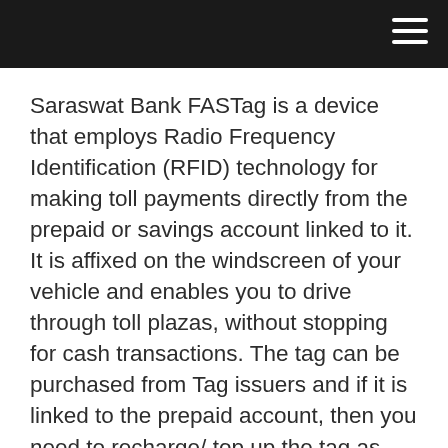Saraswat Bank FASTag is a device that employs Radio Frequency Identification (RFID) technology for making toll payments directly from the prepaid or savings account linked to it. It is affixed on the windscreen of your vehicle and enables you to drive through toll plazas, without stopping for cash transactions. The tag can be purchased from Tag issuers and if it is linked to the prepaid account, then you need to recharge/ top up the tag as per your requirement.
Saraswat Bank FASTag is a 10x 5 cm, rectangle shape, multi layered tag, which is made out of good quality paper, containing